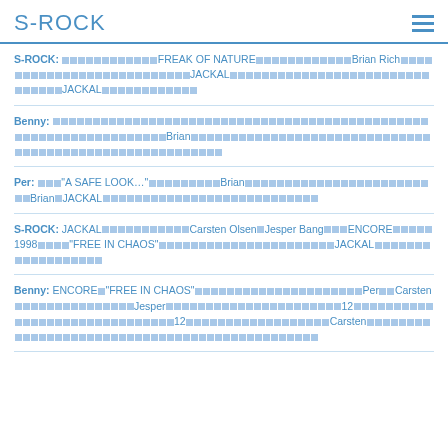S-ROCK
S-ROCK: [squares]FREAK OF NATURE[squares]Brian Rich[squares]JACKAL[squares]JACKAL[squares]
Benny: [squares]Brian[squares]
Per: [squares]"A SAFE LOOK..."[squares]Brian[squares]Brian JACKAL[squares]
S-ROCK: JACKAL[squares]Carsten Olsen Jesper Bang[squares]ENCORE[squares]1998[squares]"FREE IN CHAOS"[squares]JACKAL[squares]
Benny: ENCORE "FREE IN CHAOS"[squares]Per[squares]Carsten[squares]Jesper[squares]12[squares]12[squares]Carsten[squares]